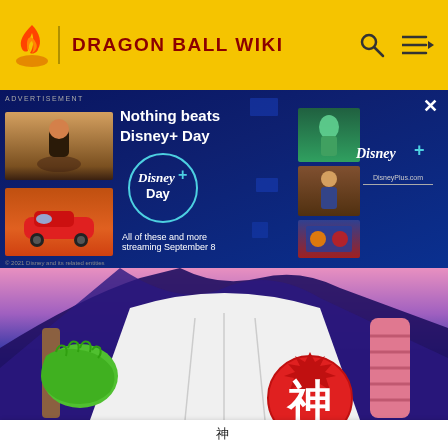DRAGON BALL WIKI
[Figure (screenshot): Disney+ Day advertisement banner with dark blue background, showing thumbnails of Cars and other movies, Disney+ Day logo, and text 'Nothing beats Disney+ Day', 'All of these and more streaming September 8']
[Figure (illustration): Dragon Ball anime character illustration showing a green-handed figure in a white robe with a red 神 (God/Kami) kanji symbol in a circle, wearing a dark purple/navy cape, holding a staff]
神